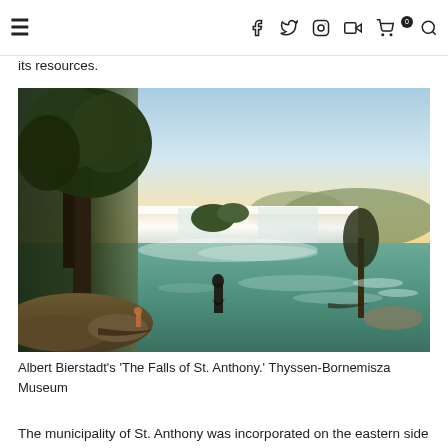≡   f  Twitter  Instagram  YouTube  Cart(0)  Search
its resources.
[Figure (illustration): Albert Bierstadt painting 'The Falls of St. Anthony' showing a wide waterfall with lush trees on the left, figures on rocky shore, river in foreground, warm golden and blue sky]
Albert Bierstadt's 'The Falls of St. Anthony.' Thyssen-Bornemisza Museum
The municipality of St. Anthony was incorporated on the eastern side of the river in 1849. The town of Minneapolis, located on the